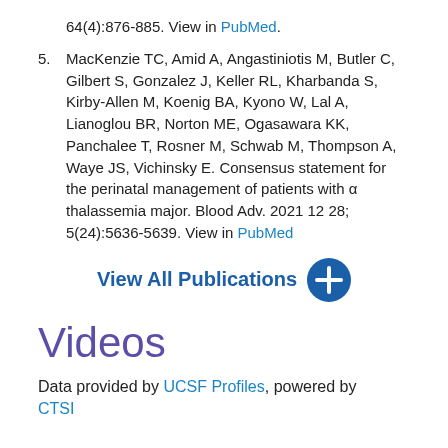64(4):876-885. View in PubMed
5. MacKenzie TC, Amid A, Angastiniotis M, Butler C, Gilbert S, Gonzalez J, Keller RL, Kharbanda S, Kirby-Allen M, Koenig BA, Kyono W, Lal A, Lianoglou BR, Norton ME, Ogasawara KK, Panchalee T, Rosner M, Schwab M, Thompson A, Waye JS, Vichinsky E. Consensus statement for the perinatal management of patients with α thalassemia major. Blood Adv. 2021 12 28; 5(24):5636-5639. View in PubMed
View All Publications
Videos
Data provided by UCSF Profiles, powered by CTSI